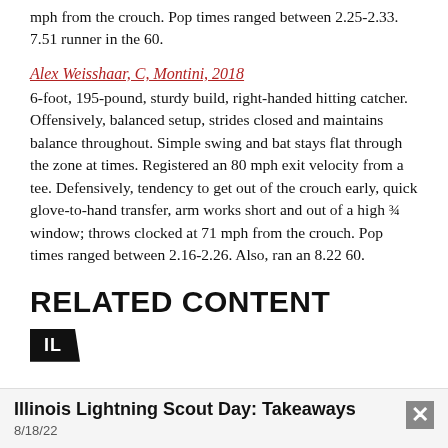mph from the crouch. Pop times ranged between 2.25-2.33. 7.51 runner in the 60.
Alex Weisshaar, C, Montini, 2018
6-foot, 195-pound, sturdy build, right-handed hitting catcher. Offensively, balanced setup, strides closed and maintains balance throughout. Simple swing and bat stays flat through the zone at times. Registered an 80 mph exit velocity from a tee. Defensively, tendency to get out of the crouch early, quick glove-to-hand transfer, arm works short and out of a high ¾ window; throws clocked at 71 mph from the crouch. Pop times ranged between 2.16-2.26. Also, ran an 8.22 60.
RELATED CONTENT
[Figure (logo): Black parallelogram badge with white text 'IL']
Illinois Lightning Scout Day: Takeaways
8/18/22